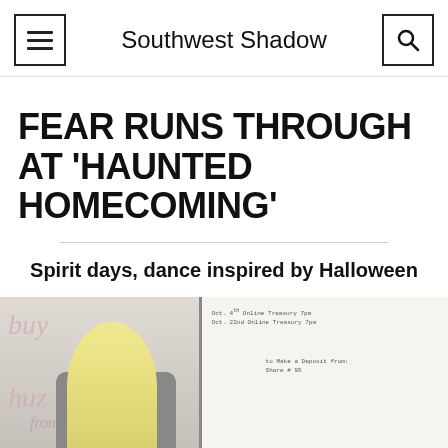Southwest Shadow
FEAR RUNS THROUGH AT 'HAUNTED HOMECOMING'
Spirit days, dance inspired by Halloween
[Figure (photo): Classroom photo showing a blonde student or teacher at a desk with a whiteboard behind her displaying dates and notes, and cursive/script decorative text on the wall to the left reading 'buy', 'huz', 'from Presusa']